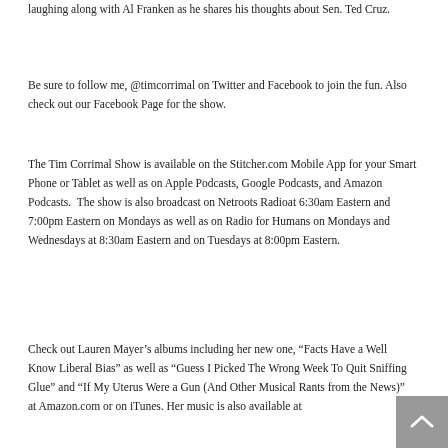laughing along with Al Franken as he shares his thoughts about Sen. Ted Cruz.
Be sure to follow me, @timcorrimal on Twitter and Facebook to join the fun. Also check out our Facebook Page for the show.
The Tim Corrimal Show is available on the Stitcher.com Mobile App for your Smart Phone or Tablet as well as on Apple Podcasts, Google Podcasts, and Amazon Podcasts.  The show is also broadcast on Netroots Radioat 6:30am Eastern and 7:00pm Eastern on Mondays as well as on Radio for Humans on Mondays and Wednesdays at 8:30am Eastern and on Tuesdays at 8:00pm Eastern.
Check out Lauren Mayer's albums including her new one, "Facts Have a Well Know Liberal Bias" as well as "Guess I Picked The Wrong Week To Quit Sniffing Glue" and "If My Uterus Were a Gun (And Other Musical Rants from the News)" at Amazon.com or on iTunes. Her music is also available at